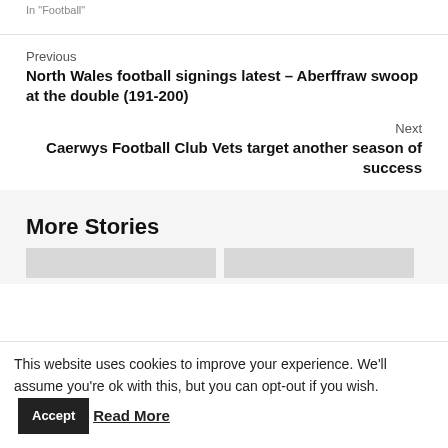In "Football"
Previous
North Wales football signings latest – Aberffraw swoop at the double (191-200)
Next
Caerwys Football Club Vets target another season of success
More Stories
This website uses cookies to improve your experience. We'll assume you're ok with this, but you can opt-out if you wish.
Accept
Read More